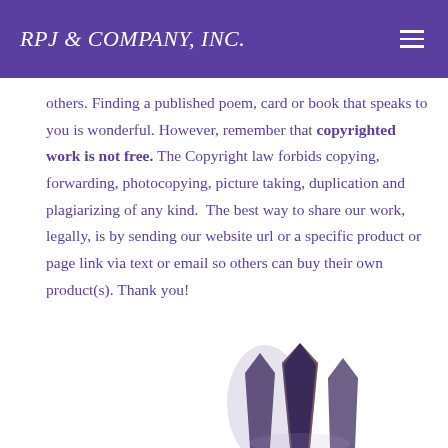RPJ & COMPANY, INC.
others. Finding a published poem, card or book that speaks to you is wonderful. However, remember that copyrighted work is not free. The Copyright law forbids copying, forwarding, photocopying, picture taking, duplication and plagiarizing of any kind.  The best way to share our work, legally, is by sending our website url or a specific product or page link via text or email so others can buy their own product(s). Thank you!
[Figure (photo): Partial view of what appears to be high-heel shoes or similar decorative objects, visible at the bottom of the page, cut off.]